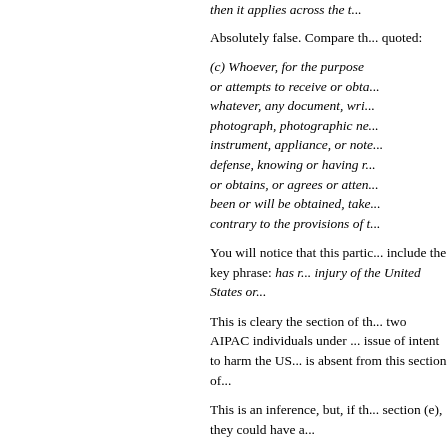then it applies across the t...
Absolutely false. Compare the... quoted:
(c) Whoever, for the purpose... or attempts to receive or obta... whatever, any document, wri... photograph, photographic ne... instrument, appliance, or note... defense, knowing or having r... or obtains, or agrees or atten... been or will be obtained, take... contrary to the provisions of t...
You will notice that this partic... include the key phrase: has r... injury of the United States or...
This is cleary the section of th... two AIPAC individuals under ... issue of intent to harm the US... is absent from this section of...
This is an inference, but, if th... section (e), they could have a...